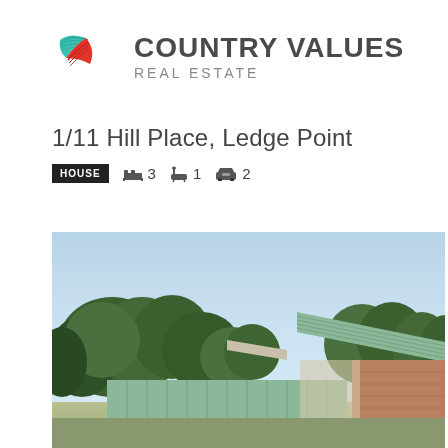[Figure (logo): Country Values Real Estate logo with teal and red swoosh/bird icon and company name in bold grey]
1/11 Hill Place, Ledge Point
HOUSE  🛏 3  🚿 1  🚗 2
[Figure (photo): Exterior photograph of a house at 1/11 Hill Place, Ledge Point, showing a light blue sky, green trees, a green corrugated iron roof, brick walls, and a green colorbond fence in the foreground]